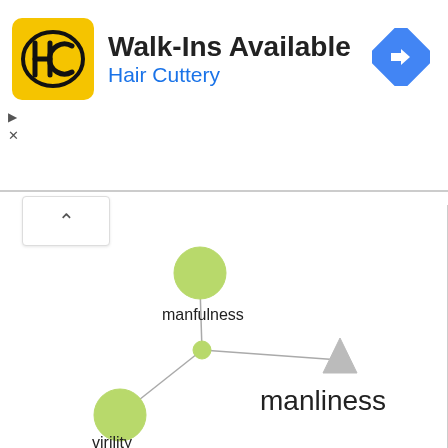[Figure (infographic): Advertisement banner for Hair Cuttery showing logo, 'Walk-Ins Available' text, blue 'Hair Cuttery' subtitle, and a blue diamond navigation icon]
[Figure (network-graph): Network graph showing three nodes connected to a central triangle node labeled 'manliness'. Nodes are: 'manfulness' (top center, large green circle), a small green circle (center), and 'virility' (bottom left, large green circle). Lines connect manfulness and virility to the central small node, which connects via line to the manliness triangle.]